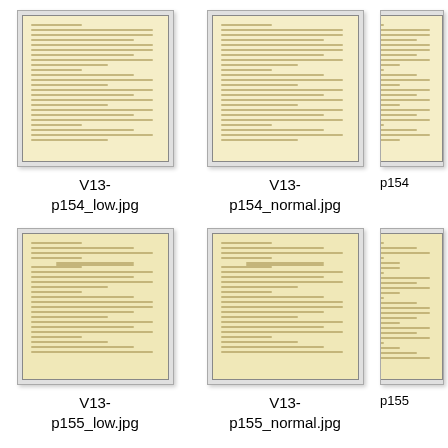[Figure (screenshot): Thumbnail of manuscript page V13-p154_low.jpg]
V13-
p154_low.jpg
[Figure (screenshot): Thumbnail of manuscript page V13-p154_normal.jpg]
V13-
p154_normal.jpg
[Figure (screenshot): Partial thumbnail of manuscript page p154 (cropped)]
p154
[Figure (screenshot): Thumbnail of manuscript page V13-p155_low.jpg]
V13-
p155_low.jpg
[Figure (screenshot): Thumbnail of manuscript page V13-p155_normal.jpg]
V13-
p155_normal.jpg
[Figure (screenshot): Partial thumbnail of manuscript page p155 (cropped)]
p155